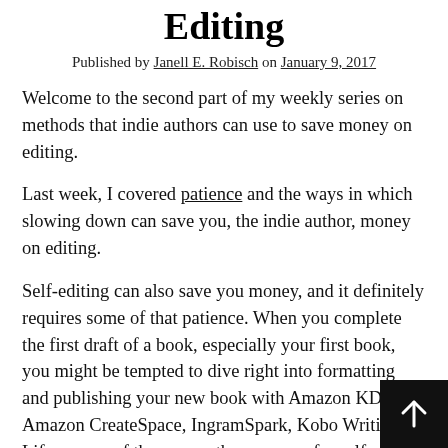Editing
Published by Janell E. Robisch on January 9, 2017
Welcome to the second part of my weekly series on methods that indie authors can use to save money on editing.
Last week, I covered patience and the ways in which slowing down can save you, the indie author, money on editing.
Self-editing can also save you money, and it definitely requires some of that patience. When you complete the first draft of a book, especially your first book, you might be tempted to dive right into formatting and publishing your new book with Amazon KDP, Amazon CreateSpace, IngramSpark, Kobo Writing Life, or one of the many other avenues for self-publishing.